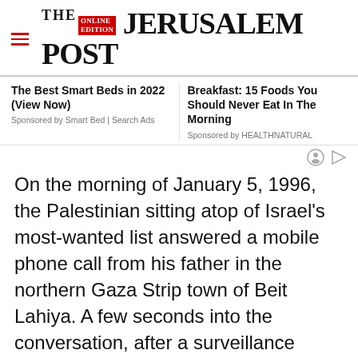THE JERUSALEM POST
The Best Smart Beds in 2022 (View Now)
Sponsored by Smart Bed | Search Ads
Breakfast: 15 Foods You Should Never Eat In The Morning
Sponsored by HEALTHNATURAL
On the morning of January 5, 1996, the Palestinian sitting atop of Israel's most-wanted list answered a mobile phone call from his father in the northern Gaza Strip town of Beit Lahiya. A few seconds into the conversation, after a surveillance plane overhead apparently verified that it was indeed Yehiyeh Ayash speaking on the
Advertisement
[Figure (infographic): Magen David Adom advertisement banner: red background with Star of David logo, Hebrew text, and 'Help us save lives in Israel' call to action on grey button]